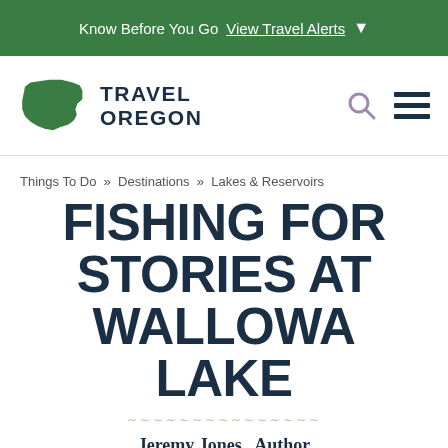Know Before You Go  View Travel Alerts  ▾
[Figure (logo): Travel Oregon logo with green Oregon state shape silhouette and TRAVEL OREGON bold text]
Things To Do  »  Destinations  »  Lakes & Reservoirs
FISHING FOR STORIES AT WALLOWA LAKE
Jeremy Jones,  Author
August 1, 2016 (Updated August 3, 2016)